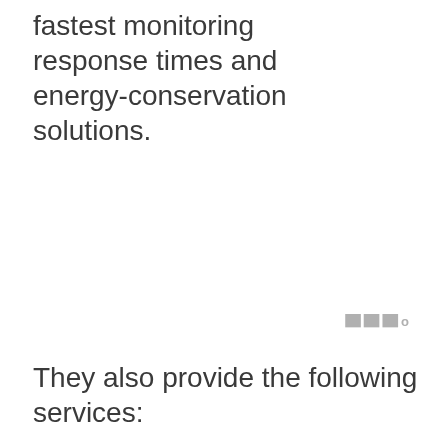fastest monitoring response times and energy-conservation solutions.
They also provide the following services: